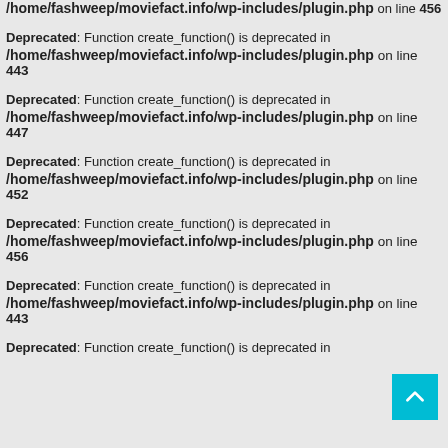/home/fashweep/moviefact.info/wp-includes/plugin.php on line 456
Deprecated: Function create_function() is deprecated in /home/fashweep/moviefact.info/wp-includes/plugin.php on line 443
Deprecated: Function create_function() is deprecated in /home/fashweep/moviefact.info/wp-includes/plugin.php on line 447
Deprecated: Function create_function() is deprecated in /home/fashweep/moviefact.info/wp-includes/plugin.php on line 452
Deprecated: Function create_function() is deprecated in /home/fashweep/moviefact.info/wp-includes/plugin.php on line 456
Deprecated: Function create_function() is deprecated in /home/fashweep/moviefact.info/wp-includes/plugin.php on line 443
Deprecated: Function create_function() is deprecated in